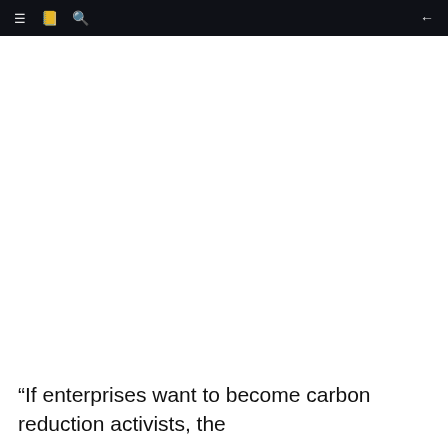≡  📖  🔍  ←
“If enterprises want to become carbon reduction activists, the